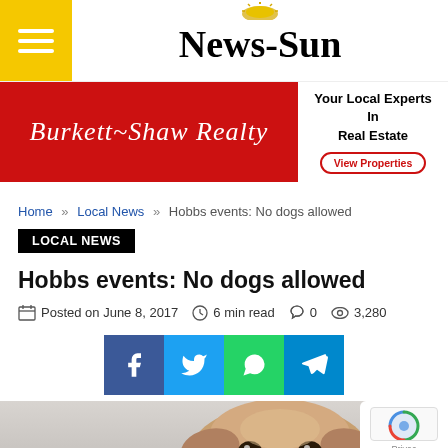News-Sun
[Figure (infographic): Burkett~Shaw Realty advertisement banner. Red background on the left with cursive white text 'Burkett~Shaw Realty'. Right side shows 'Your Local Experts In Real Estate' with 'View Properties' button in red outline.]
Home » Local News » Hobbs events: No dogs allowed
LOCAL NEWS
Hobbs events: No dogs allowed
Posted on June 8, 2017  6 min read  0  3,280
[Figure (infographic): Social sharing buttons: Facebook (blue), Twitter (light blue), WhatsApp (green), Telegram (blue)]
[Figure (photo): Partial photo of a small fluffy dog looking up at the camera, light brown and white fur, gray background.]